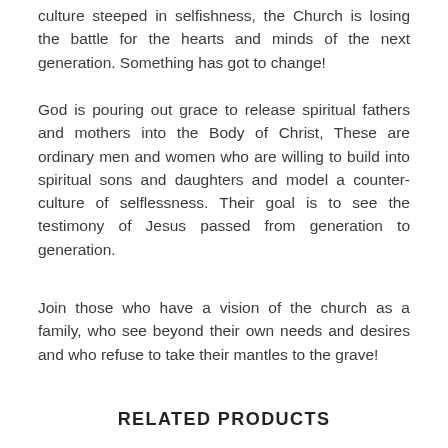culture steeped in selfishness, the Church is losing the battle for the hearts and minds of the next generation. Something has got to change!
God is pouring out grace to release spiritual fathers and mothers into the Body of Christ, These are ordinary men and women who are willing to build into spiritual sons and daughters and model a counter-culture of selflessness. Their goal is to see the testimony of Jesus passed from generation to generation.
Join those who have a vision of the church as a family, who see beyond their own needs and desires and who refuse to take their mantles to the grave!
RELATED PRODUCTS